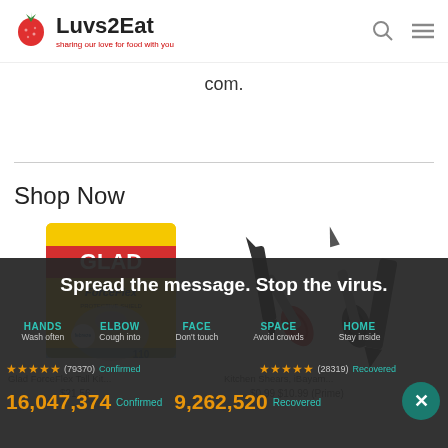Luvs2Eat — sharing our love for food with you
com.
Shop Now
[Figure (photo): Glad ForceFlex Tall Kitchen trash bags box, 110 count, yellow packaging]
[Figure (photo): Kitchen Shears iBayam set of scissors with red and black handles]
Glad ForceFlex Tall Kitchen...
Kitchen Shears, iBayam...
Spread the message. Stop the virus.
HANDS Wash often   ELBOW Cough into   FACE Don't touch   SPACE Avoid crowds   HOME Stay inside
(79370) Confirmed   (28319) Recovered
16,047,374 Confirmed   9,262,520 Recovered
$21.56   $0.99 $10.99 (Prime)